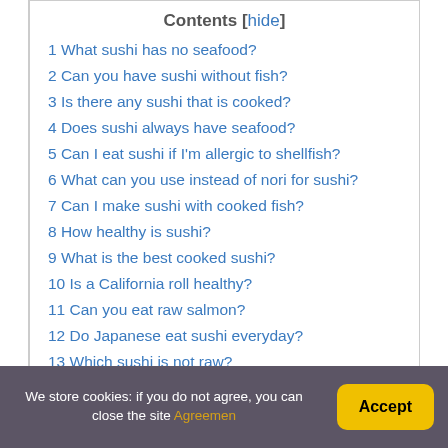Contents [hide]
1 What sushi has no seafood?
2 Can you have sushi without fish?
3 Is there any sushi that is cooked?
4 Does sushi always have seafood?
5 Can I eat sushi if I'm allergic to shellfish?
6 What can you use instead of nori for sushi?
7 Can I make sushi with cooked fish?
8 How healthy is sushi?
9 What is the best cooked sushi?
10 Is a California roll healthy?
11 Can you eat raw salmon?
12 Do Japanese eat sushi everyday?
13 Which sushi is not raw?
14 Can you cook Raw sushi?
We store cookies: if you do not agree, you can close the site Agreement